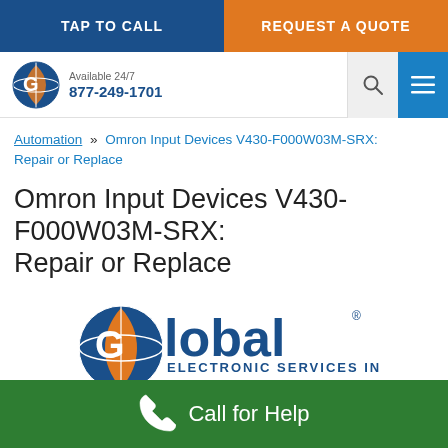TAP TO CALL | REQUEST A QUOTE
[Figure (logo): Global Electronic Services Inc. logo with phone number 877-249-1701 and Available 24/7]
Automation » Omron Input Devices V430-F000W03M-SRX: Repair or Replace
Omron Input Devices V430-F000W03M-SRX: Repair or Replace
[Figure (logo): Global Electronic Services Inc. large center logo with REPAIR · CONSULTING · SALES tagline]
Call for Help